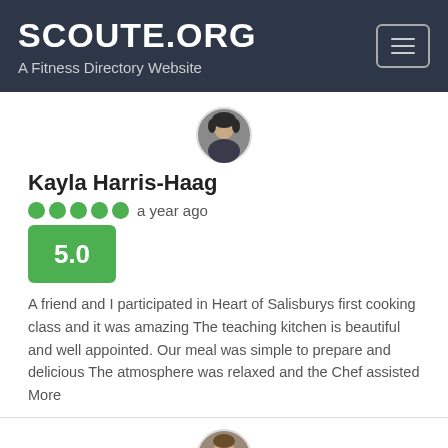SCOUTE.ORG
A Fitness Directory Website
[Figure (photo): Circular profile photo of Kayla Harris-Haag]
Kayla Harris-Haag
5 stars   a year ago
5.0
A friend and I participated in Heart of Salisburys first cooking class and it was amazing The teaching kitchen is beautiful and well appointed. Our meal was simple to prepare and delicious The atmosphere was relaxed and the Chef assisted More
[Figure (photo): Circular profile photo of a second reviewer]